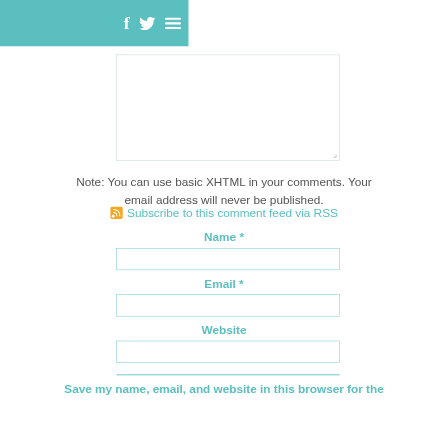[Figure (screenshot): Website header bar in teal/turquoise color with Facebook icon (f), Twitter bird icon, and hamburger menu icon on the right side]
[Figure (screenshot): Comment textarea input box, empty, with resize handle at bottom right]
Note: You can use basic XHTML in your comments. Your email address will never be published.
Subscribe to this comment feed via RSS
Name *
[Figure (screenshot): Name input field, empty text box with teal border]
Email *
[Figure (screenshot): Email input field, empty text box with teal border]
Website
[Figure (screenshot): Website input field, empty text box with teal border]
Save my name, email, and website in this browser for the